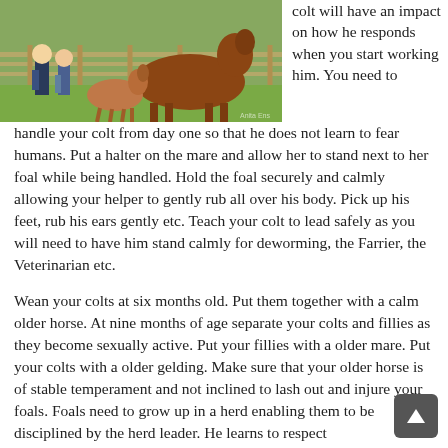[Figure (photo): Two people standing with a mare and young foal in a grassy paddock with a wooden fence in the background.]
colt will have an impact on how he responds when you start working him. You need to handle your colt from day one so that he does not learn to fear humans. Put a halter on the mare and allow her to stand next to her foal while being handled. Hold the foal securely and calmly allowing your helper to gently rub all over his body. Pick up his feet, rub his ears gently etc. Teach your colt to lead safely as you will need to have him stand calmly for deworming, the Farrier, the Veterinarian etc.
Wean your colts at six months old. Put them together with a calm older horse. At nine months of age separate your colts and fillies as they become sexually active. Put your fillies with a older mare. Put your colts with a older gelding. Make sure that your older horse is of stable temperament and not inclined to lash out and injure your foals. Foals need to grow up in a herd enabling them to be disciplined by the herd leader. He learns to respect